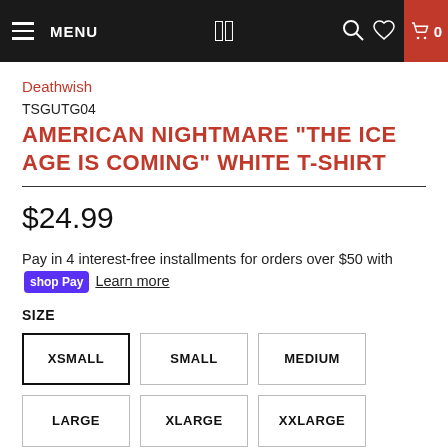MENU | DW logo | search | wishlist | cart 0
Deathwish
TSGUTG04
AMERICAN NIGHTMARE "THE ICE AGE IS COMING" WHITE T-SHIRT
$24.99
Pay in 4 interest-free installments for orders over $50 with Shop Pay Learn more
SIZE
XSMALL
SMALL
MEDIUM
LARGE
XLARGE
XXLARGE
3XLARGE